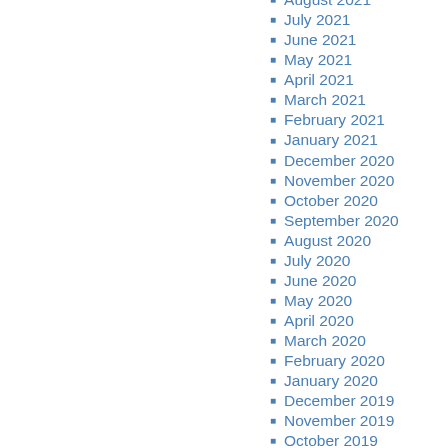August 2021
July 2021
June 2021
May 2021
April 2021
March 2021
February 2021
January 2021
December 2020
November 2020
October 2020
September 2020
August 2020
July 2020
June 2020
May 2020
April 2020
March 2020
February 2020
January 2020
December 2019
November 2019
October 2019
September 2019
August 2019